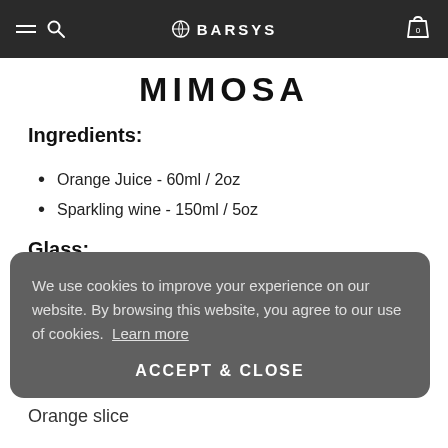BARSYS
MIMOSA
Ingredients:
Orange Juice - 60ml / 2oz
Sparkling wine - 150ml / 5oz
Glass:
Champagne flute
Garnish:
Orange slice
We use cookies to improve your experience on our website. By browsing this website, you agree to our use of cookies. Learn more
ACCEPT & CLOSE